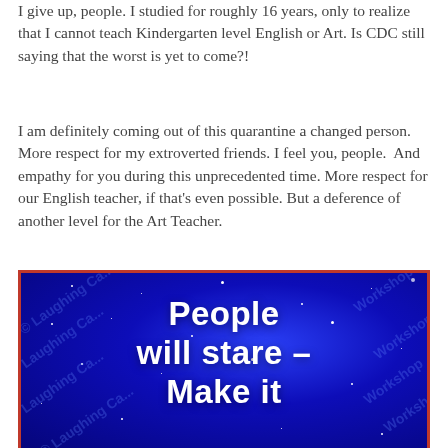I give up, people. I studied for roughly 16 years, only to realize that I cannot teach Kindergarten level English or Art. Is CDC still saying that the worst is yet to come?!
I am definitely coming out of this quarantine a changed person. More respect for my extroverted friends. I feel you, people.  And empathy for you during this unprecedented time. More respect for our English teacher, if that's even possible. But a deference of another level for the Art Teacher.
[Figure (illustration): Blue starry night background image with white bold text reading 'People will stare – Make it', with 'Laughing Ca... Workshop' watermarks repeated diagonally across the image and a red border frame.]